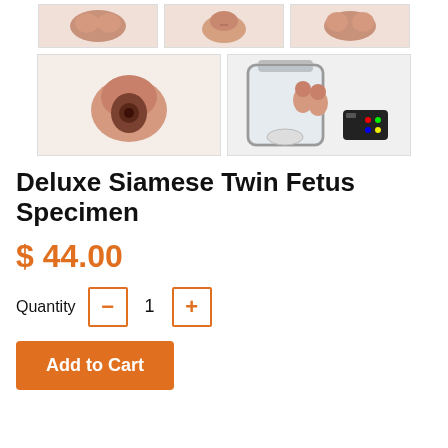[Figure (photo): Three thumbnail product images of a siamese twin fetus specimen prop shown from different angles]
[Figure (photo): Two larger thumbnail product images: one showing the bottom/underside of the specimen, one showing the specimen next to a jar and remote control]
Deluxe Siamese Twin Fetus Specimen
$ 44.00
Quantity  −  1  +
Add to Cart